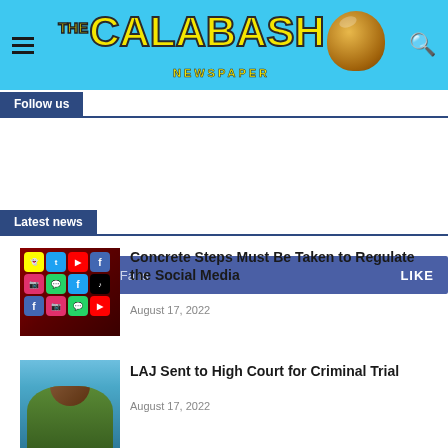THE CALABASH NEWSPAPER
Follow us
f  43,241  Fans  LIKE
Latest news
Concrete Steps Must Be Taken to Regulate the Social Media
August 17, 2022
LAJ Sent to High Court for Criminal Trial
August 17, 2022